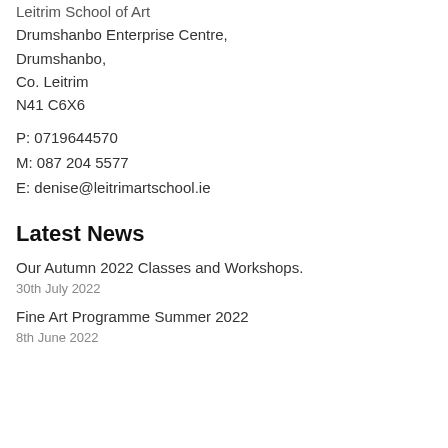Leitrim School of Art
Drumshanbo Enterprise Centre,
Drumshanbo,
Co. Leitrim
N41 C6X6
P: 0719644570
M: 087 204 5577
E: denise@leitrimartschool.ie
Latest News
Our Autumn 2022 Classes and Workshops.
30th July 2022
Fine Art Programme Summer 2022
8th June 2022